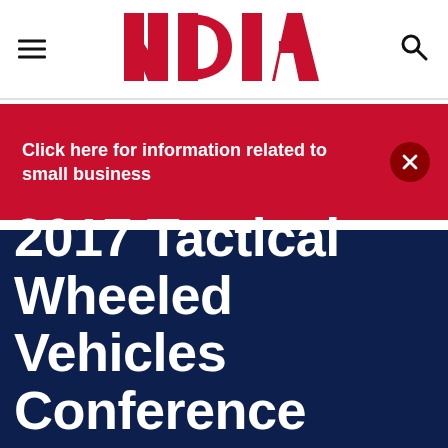NDIA
Click here for information related to small business
2017 Tactical Wheeled Vehicles Conference